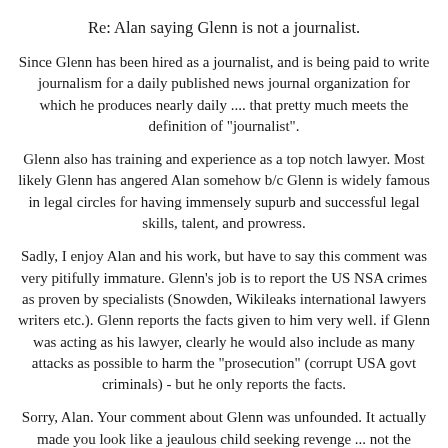Re: Alan saying Glenn is not a journalist.
Since Glenn has been hired as a journalist, and is being paid to write journalism for a daily published news journal organization for which he produces nearly daily .... that pretty much meets the definition of "journalist".
Glenn also has training and experience as a top notch lawyer. Most likely Glenn has angered Alan somehow b/c Glenn is widely famous in legal circles for having immensely supurb and successful legal skills, talent, and prowress.
Sadly, I enjoy Alan and his work, but have to say this comment was very pitifully immature. Glenn's job is to report the US NSA crimes as proven by specialists (Snowden, Wikileaks international lawyers writers etc.). Glenn reports the facts given to him very well. if Glenn was acting as his lawyer, clearly he would also include as many attacks as possible to harm the "prosecution" (corrupt USA govt criminals) - but he only reports the facts.
Sorry, Alan. Your comment about Glenn was unfounded. It actually made you look like a jeaulous child seeking revenge ... not the brilliant intellect you've more than not shown yourself to be. Grow up, darlin'.